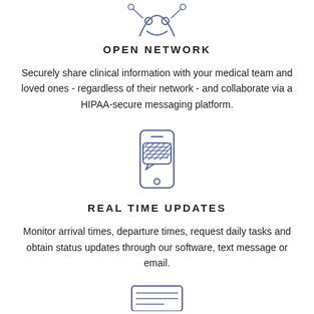[Figure (illustration): Line-art icon of a person/network sharing symbol in blue-purple color, partially cropped at top]
OPEN NETWORK
Securely share clinical information with your medical team and loved ones - regardless of their network - and collaborate via a HIPAA-secure messaging platform.
[Figure (illustration): Line-art icon of a smartphone with a chat/message bubble containing a hatched pattern, in blue-purple color]
REAL TIME UPDATES
Monitor arrival times, departure times, request daily tasks and obtain status updates through our software, text message or email.
[Figure (illustration): Line-art icon partially visible at bottom of page, blue-purple color]